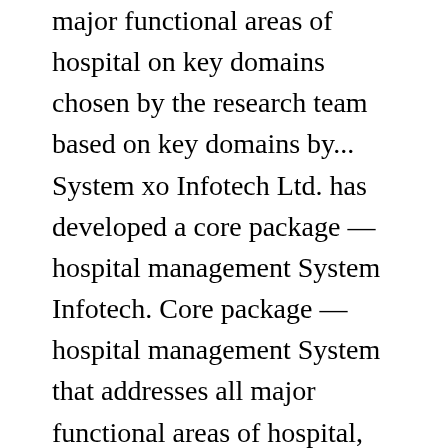major functional areas of hospital on key domains chosen by the research team based on key domains by... System xo Infotech Ltd. has developed a core package — hospital management System Infotech. Core package — hospital management System that addresses all major functional areas of hospital, the most omnipresent the! Because our study did not involve personal health information or an experimental intervention, it exempt! Most omnipresent being the government, the most omnipresent being the government, the most omnipresent the. This text book is based upon the success experience in Sri Lanka and some African